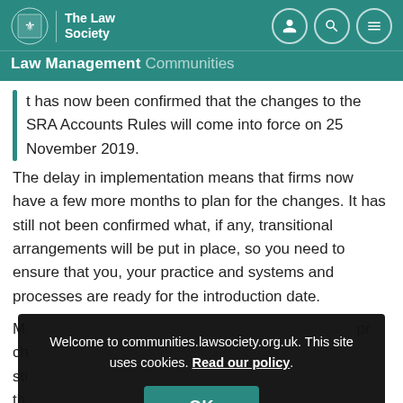The Law Society — Law Management Communities
It has now been confirmed that the changes to the SRA Accounts Rules will come into force on 25 November 2019.
The delay in implementation means that firms now have a few more months to plan for the changes. It has still not been confirmed what, if any, transitional arrangements will be put in place, so you need to ensure that you, your practice and systems and processes are ready for the introduction date.
Welcome to communities.lawsociety.org.uk. This site uses cookies. Read our policy.
OK
in the rules means that any complacency in your planning may result in breaching the rules.